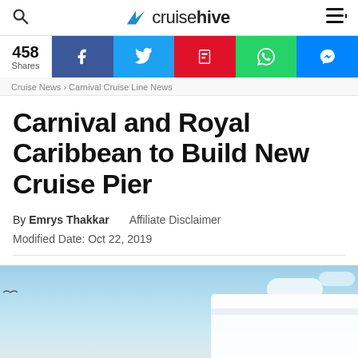cruisehive
458 Shares
Cruise News > Carnival Cruise Line News
Carnival and Royal Caribbean to Build New Cruise Pier
By Emrys Thakkar   Affiliate Disclaimer
Modified Date: Oct 22, 2019
[Figure (photo): Cruise ship against a blue sky with clouds, partial view showing the upper hull and decks]